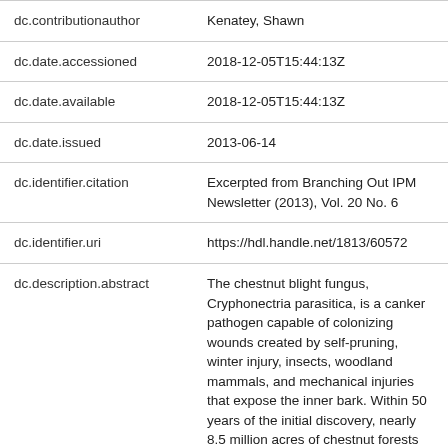| Field | Value |
| --- | --- |
| dc.contributionauthor | Kenatey, Shawn |
| dc.date.accessioned | 2018-12-05T15:44:13Z |
| dc.date.available | 2018-12-05T15:44:13Z |
| dc.date.issued | 2013-06-14 |
| dc.identifier.citation | Excerpted from Branching Out IPM Newsletter (2013), Vol. 20 No. 6 |
| dc.identifier.uri | https://hdl.handle.net/1813/60572 |
| dc.description.abstract | The chestnut blight fungus, Cryphonectria parasitica, is a canker pathogen capable of colonizing wounds created by self-pruning, winter injury, insects, woodland mammals, and mechanical injuries that expose the inner bark. Within 50 years of the initial discovery, nearly 8.5 million acres of chestnut forests had fallen prey to the pathogen. |